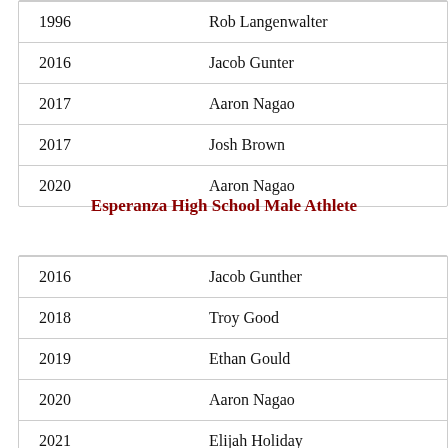| Year | Name |
| --- | --- |
| 1996 | Rob Langenwalter |
| 2016 | Jacob Gunter |
| 2017 | Aaron Nagao |
| 2017 | Josh Brown |
| 2020 | Aaron Nagao |
Esperanza High School Male Athlete
| Year | Name |
| --- | --- |
| 2016 | Jacob Gunther |
| 2018 | Troy Good |
| 2019 | Ethan Gould |
| 2020 | Aaron Nagao |
| 2021 | Elijah Holiday |